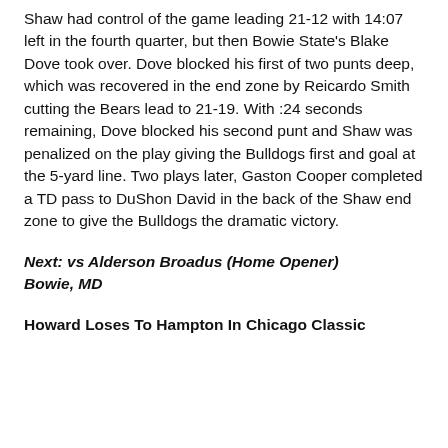Shaw had control of the game leading 21-12 with 14:07 left in the fourth quarter, but then Bowie State's Blake Dove took over. Dove blocked his first of two punts deep, which was recovered in the end zone by Reicardo Smith cutting the Bears lead to 21-19. With :24 seconds remaining, Dove blocked his second punt and Shaw was penalized on the play giving the Bulldogs first and goal at the 5-yard line. Two plays later, Gaston Cooper completed a TD pass to DuShon David in the back of the Shaw end zone to give the Bulldogs the dramatic victory.
Next: vs Alderson Broadus (Home Opener) Bowie, MD
Howard Loses To Hampton In Chicago Classic